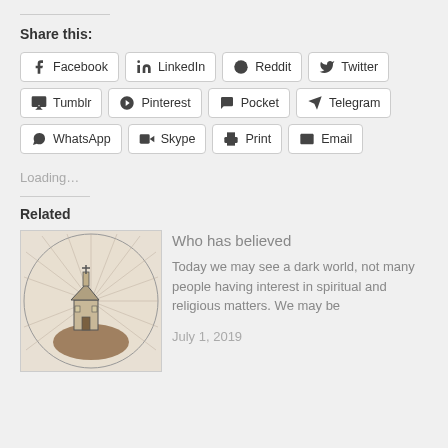Share this:
Facebook
LinkedIn
Reddit
Twitter
Tumblr
Pinterest
Pocket
Telegram
WhatsApp
Skype
Print
Email
Loading…
Related
[Figure (illustration): Circular engraving of a small church on a hilltop with radiating lines in background]
Who has believed
Today we may see a dark world, not many people having interest in spiritual and religious matters. We may be
July 1, 2019